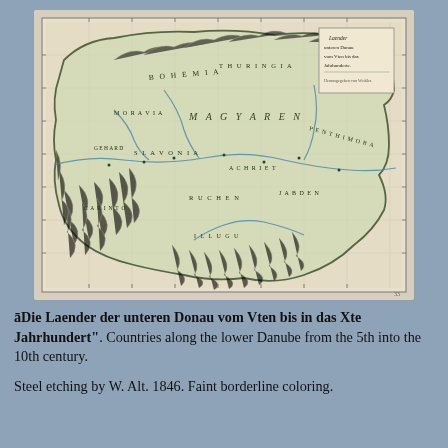[Figure (map): Historical map titled 'Laender der unteren Donau vom Vten bis in das Xte Jahrhundert' — a steel etching by W. Alt, 1846, showing countries along the lower Danube from the 5th into the 10th century. The map shows regions including Bohemia, Moravia, Magyaren, and surrounding territories with faint borderline coloring, rivers, and topographical markings.]
āDie Laender der unteren Donau vom Vten bis in das Xte Jahrhundert". Countries along the lower Danube from the 5th into the 10th century.
Steel etching by W. Alt. 1846. Faint borderline coloring.